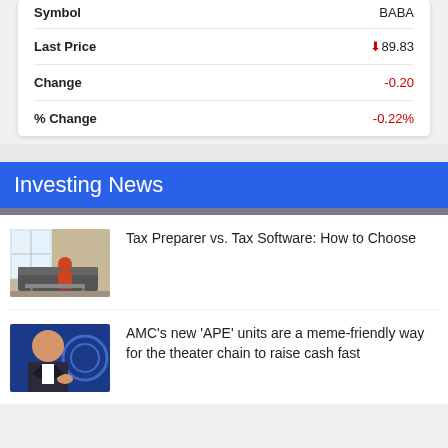| Field | Value |
| --- | --- |
| Symbol | BABA |
| Last Price | 89.83 |
| Change | -0.20 |
| % Change | -0.22% |
Investing News
[Figure (photo): Person sitting on a couch in a living room, looking at a computer, warm indoor scene]
Tax Preparer vs. Tax Software: How to Choose
[Figure (photo): Man in a dark suit with a white shirt, blue background with circular logo]
AMC's new 'APE' units are a meme-friendly way for the theater chain to raise cash fast